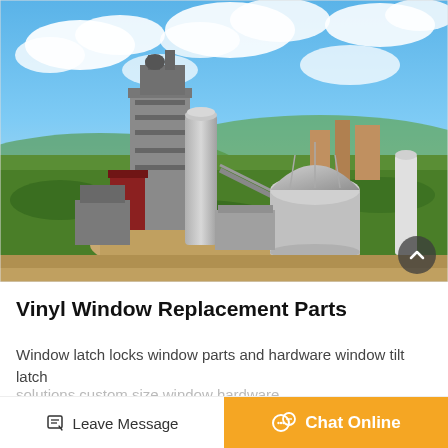[Figure (photo): Aerial view of a large industrial cement plant facility with tall silos, processing equipment, conveyors, and a large dome-shaped storage silo, surrounded by green trees and hills under a blue sky with white clouds.]
Vinyl Window Replacement Parts
Window latch locks window parts and hardware window tilt latch
Leave Message
Chat Online